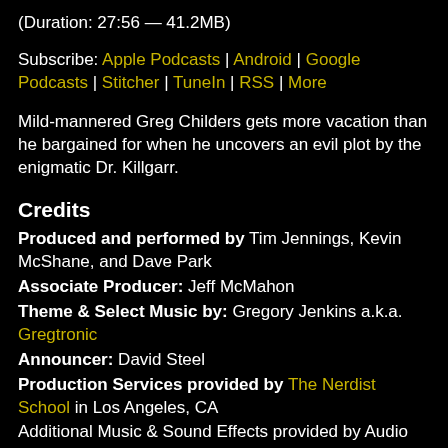(Duration: 27:56 — 41.2MB)
Subscribe: Apple Podcasts | Android | Google Podcasts | Stitcher | TuneIn | RSS | More
Mild-mannered Greg Childers gets more vacation than he bargained for when he uncovers an evil plot by the enigmatic Dr. Killgarr.
Credits
Produced and performed by Tim Jennings, Kevin McShane, and Dave Park
Associate Producer: Jeff McMahon
Theme & Select Music by: Gregory Jenkins a.k.a. Gregtronic
Announcer: David Steel
Production Services provided by The Nerdist School in Los Angeles, CA
Additional Music & Sound Effects provided by Audio Jungle